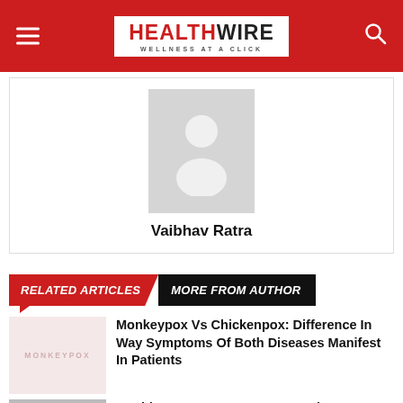HEALTHWIRE — WELLNESS AT A CLICK
[Figure (illustration): Default avatar/placeholder person silhouette on grey background]
Vaibhav Ratra
RELATED ARTICLES   MORE FROM AUTHOR
[Figure (photo): Monkeypox article thumbnail with 'MONKEYPOX' text on pink/light red background]
Monkeypox Vs Chickenpox: Difference In Way Symptoms Of Both Diseases Manifest In Patients
[Figure (photo): Gray thumbnail for World Lung Cancer Day article]
World Lung Cancer Day: Is Passive